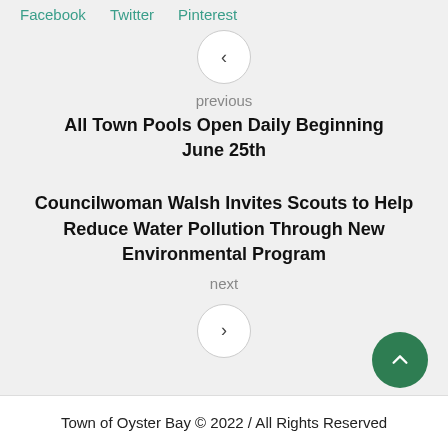Facebook   Twitter   Pinterest
previous
All Town Pools Open Daily Beginning June 25th
Councilwoman Walsh Invites Scouts to Help Reduce Water Pollution Through New Environmental Program
next
Town of Oyster Bay © 2022 / All Rights Reserved